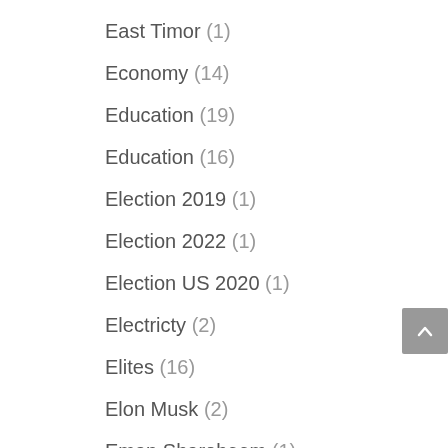East Timor (1)
Economy (14)
Education (19)
Education (16)
Election 2019 (1)
Election 2022 (1)
Election US 2020 (1)
Electricty (2)
Elites (16)
Elon Musk (2)
Eman Sharobeem (1)
Energy (13)